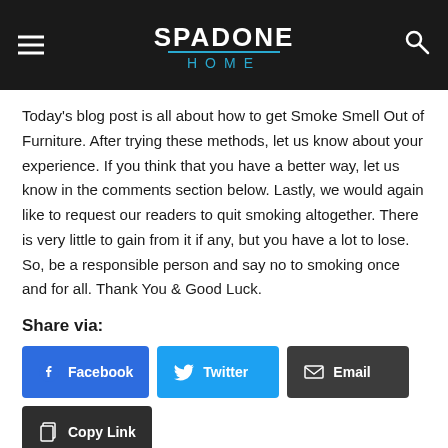SPADONE HOME
Today's blog post is all about how to get Smoke Smell Out of Furniture. After trying these methods, let us know about your experience. If you think that you have a better way, let us know in the comments section below. Lastly, we would again like to request our readers to quit smoking altogether. There is very little to gain from it if any, but you have a lot to lose. So, be a responsible person and say no to smoking once and for all. Thank You & Good Luck.
Share via:
[Figure (other): Share buttons row 1: Facebook (blue), Twitter (light blue), Email (dark gray); row 2: Copy Link (dark gray)]